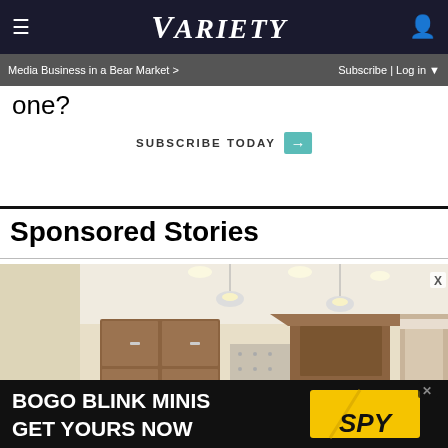Variety — Media Business in a Bear Market > | Subscribe | Log in
one?
SUBSCRIBE TODAY →
Sponsored Stories
[Figure (photo): Interior kitchen photo showing wooden cabinets, pendant lights, and a range hood]
[Figure (infographic): Advertisement banner: BOGO BLINK MINIS GET YOURS NOW with SPY logo]